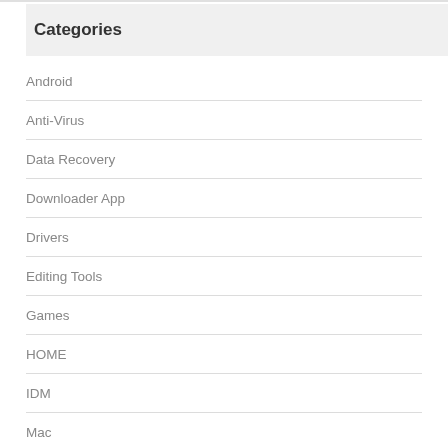Categories
Android
Anti-Virus
Data Recovery
Downloader App
Drivers
Editing Tools
Games
HOME
IDM
Mac
Multimedia
Office